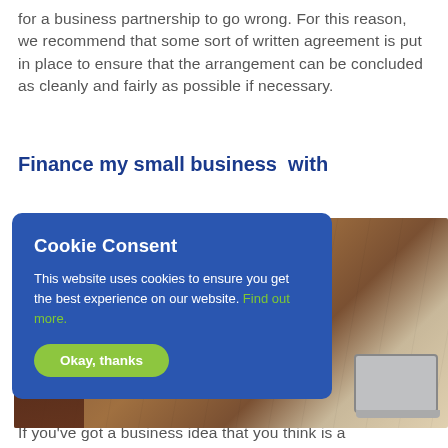for a business partnership to go wrong. For this reason, we recommend that some sort of written agreement is put in place to ensure that the arrangement can be concluded as cleanly and fairly as possible if necessary.
Finance my small business with
[Figure (screenshot): Cookie consent popup overlay on a blue background, with title 'Cookie Consent', body text about cookies, a green 'Find out more' link, and a green 'Okay, thanks' button. Behind it is a photograph of a person working at a wooden desk with a laptop.]
If you've got a business idea that you think is a